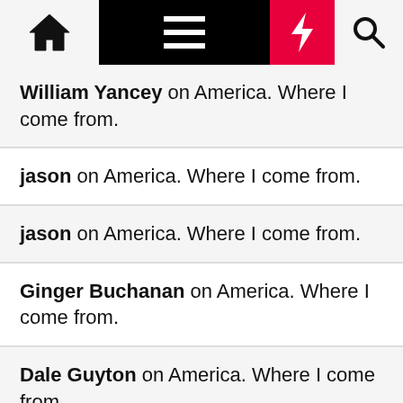Navigation bar with home, menu, bolt, and search icons
William Yancey on America. Where I come from.
jason on America. Where I come from.
jason on America. Where I come from.
Ginger Buchanan on America. Where I come from.
Dale Guyton on America. Where I come from.
jason on We say grace and ma'am and if you ain't into that we don't give a damn
jason on Dear President Trump
jason on Dear President Trump